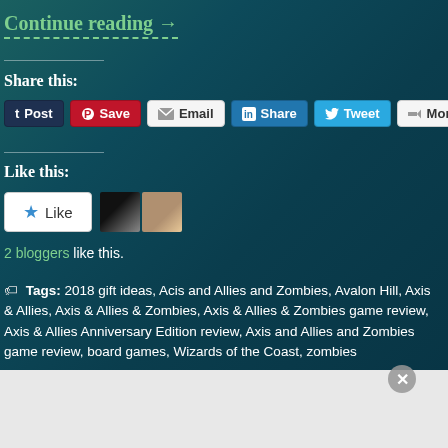Continue reading →
Share this:
Post | Save | Email | Share | Tweet | More
Like this:
2 bloggers like this.
Tags: 2018 gift ideas, Acis and Allies and Zombies, Avalon Hill, Axis & Allies, Axis & Allies & Zombies, Axis & Allies & Zombies game review, Axis & Allies Anniversary Edition review, Axis and Allies and Zombies game review, board games, Wizards of the Coast, zombies
[Figure (screenshot): Jetpack advertisement banner with green background and 'Secure Your Site' button]